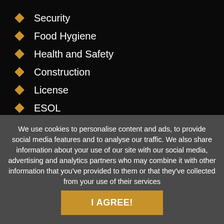Security
Food Hygiene
Health and Safety
Construction
License
ESOL
Online C…
We use cookies to personalise content and ads, to provide social media features and to analyse our traffic. We also share information about your use of our site with our social media, advertising and analytics partners who may combine it with other information that you've provided to them or that they've collected from your use of their services
I AGREE!